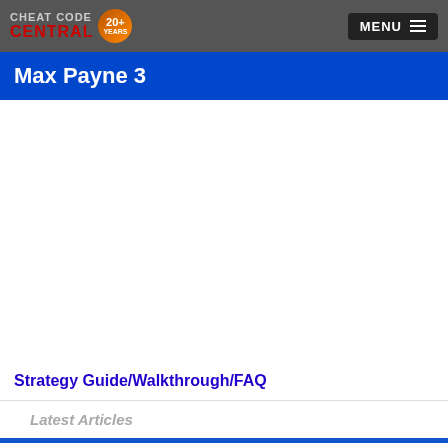CHEAT CODE CENTRAL 20+ YEARS | MENU
Max Payne 3
Strategy Guide/Walkthrough/FAQ
Latest Articles